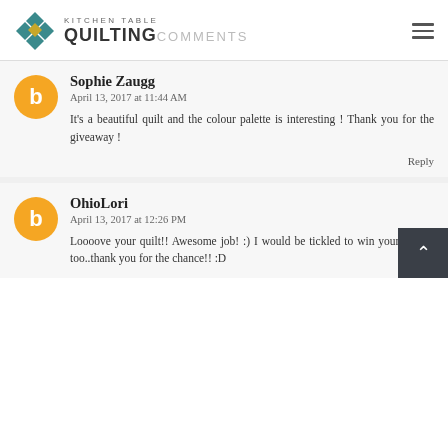Kitchen Table Quilting Comments
Sophie Zaugg
April 13, 2017 at 11:44 AM
It's a beautiful quilt and the colour palette is interesting! Thank you for the giveaway!
Reply
OhioLori
April 13, 2017 at 12:26 PM
Loooove your quilt!! Awesome job! :) I would be tickled to win your Scraps too..thank you for the chance!! :D